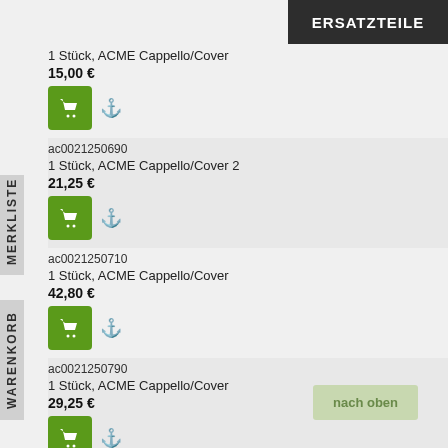ERSATZTEILE
1 Stück, ACME Cappello/Cover
15,00 €
ac0021250690
1 Stück, ACME Cappello/Cover 2
21,25 €
ac0021250710
1 Stück, ACME Cappello/Cover
42,80 €
ac0021250790
1 Stück, ACME Cappello/Cover
29,25 €
ac0021250900
1 Stück, ACME Cappello/Rock.Arm Cov
69,70 €
MERKLISTE
WARENKORB
nach oben